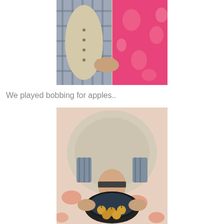[Figure (photo): Two people shown from torso/neck down — one wearing a blue plaid shirt with a cream knit vest, the other wearing a bright pink floral dress. One person's hand rests on the other's belly.]
We played bobbing for apples..
[Figure (photo): Overhead view of a bald person in a cream knit sweater and blue plaid shirt leaning over a black bowl/tub on a floral-patterned surface, with apples visible in the dark bowl — bobbing for apples.]